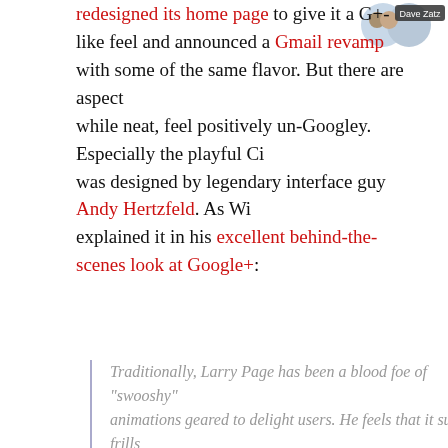redesigned its home page to give it a G+-like feel and announced a Gmail revamp with some of the same flavor. But there are aspects, while neat, feel positively un-Googley. Especially the playful Circles interface, which was designed by legendary interface guy Andy Hertzfeld. As Wired's Steven Levy explained it in his excellent behind-the-scenes look at Google+:
Traditionally, Larry Page has been a blood foe of "swooshy" animations geared to delight users. He feels that it such frills slow everything down. But Page has signed off on the pleasing-pixel innovations in G+, including a delightful animation when you delete a circle: It drops to the bottom of the screen, bounces and sinks to oblivion. That animation adds a precious few hundred milliseconds to the task; in the speed-obsessed Google world that's like dropping "War and Peace" on a reading list. "I've heard in the past that Larry Page he didn't like animations but that didn't stop me from putting delightful animations in, and Larry told me he loves it." says Hertzfeld. "Maybe my resurgence had a little bit to do with it." In any case, Google has definitely tapped Hertzfeld as the design leader of the Emerald Sea team
The Circles interface isn't just strikingly different from classic Google—it's a departure from Facebook, which has always fulfilled its mission